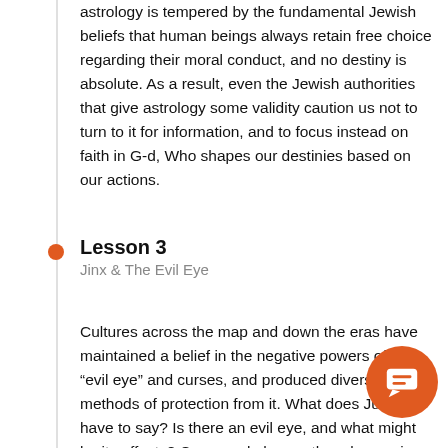astrology is tempered by the fundamental Jewish beliefs that human beings always retain free choice regarding their moral conduct, and no destiny is absolute. As a result, even the Jewish authorities that give astrology some validity caution us not to turn to it for information, and to focus instead on faith in G-d, Who shapes our destinies based on our actions.
Lesson 3
Jinx & The Evil Eye
Cultures across the map and down the eras have maintained a belief in the negative powers of an “evil eye” and curses, and produced diverse methods of protection from it. What does Judaism have to say? Is there an evil eye, and what might be its effects? Can people harm others by cursing them?